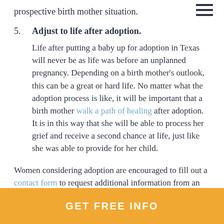prospective birth mother situation.
5. Adjust to life after adoption. Life after putting a baby up for adoption in Texas will never be as life was before an unplanned pregnancy. Depending on a birth mother's outlook, this can be a great or hard life. No matter what the adoption process is like, it will be important that a birth mother walk a path of healing after adoption. It is in this way that she will be able to process her grief and receive a second chance at life, just like she was able to provide for her child.
Women considering adoption are encouraged to fill out a contact form to request additional information from an adopti...
GET FREE INFO